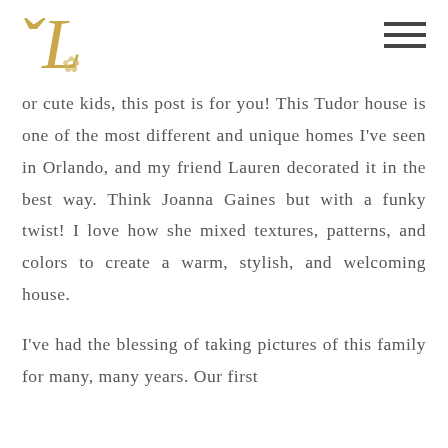L
or cute kids, this post is for you! This Tudor house is one of the most different and unique homes I've seen in Orlando, and my friend Lauren decorated it in the best way. Think Joanna Gaines but with a funky twist! I love how she mixed textures, patterns, and colors to create a warm, stylish, and welcoming house.

I've had the blessing of taking pictures of this family for many, many years. Our first